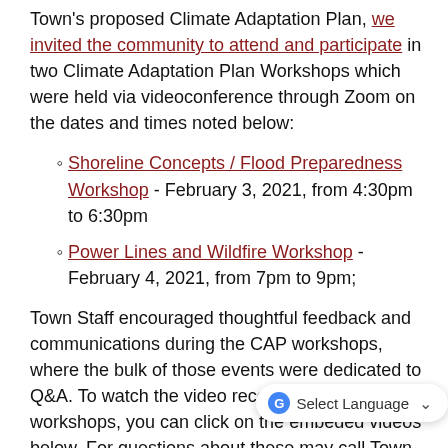Town's proposed Climate Adaptation Plan, we invited the community to attend and participate in two Climate Adaptation Plan Workshops which were held via videoconference through Zoom on the dates and times noted below:
Shoreline Concepts / Flood Preparedness Workshop - February 3, 2021, from 4:30pm to 6:30pm
Power Lines and Wildfire Workshop - February 4, 2021, from 7pm to 9pm;
Town Staff encouraged thoughtful feedback and communications during the CAP workshops, where the bulk of those events were dedicated to Q&A. To watch the video recordings of these two workshops, you can click on the embeded videos below. For questions about these you may call Town Hall at (415)927-5050.